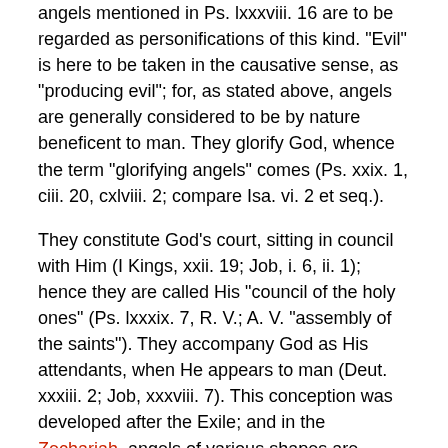angels mentioned in Ps. lxxxviii. 16 are to be regarded as personifications of this kind. "Evil" is here to be taken in the causative sense, as "producing evil"; for, as stated above, angels are generally considered to be by nature beneficent to man. They glorify God, whence the term "glorifying angels" comes (Ps. xxix. 1, ciii. 20, cxlviii. 2; compare Isa. vi. 2 et seq.).
They constitute God's court, sitting in council with Him (I Kings, xxii. 19; Job, i. 6, ii. 1); hence they are called His "council of the holy ones" (Ps. lxxxix. 7, R. V.; A. V. "assembly of the saints"). They accompany God as His attendants, when He appears to man (Deut. xxxiii. 2; Job, xxxviii. 7). This conception was developed after the Exile; and in the Zechariah, angels of various shapes are delegated "to walk to and fro through the earth" in order to find out and report what happens (Zech. vi. 7).
In the prophetic books, angels appear as representatives of the prophetic spirit, and bring to the prophets God's word. Thus the prophet Haggai was called God's